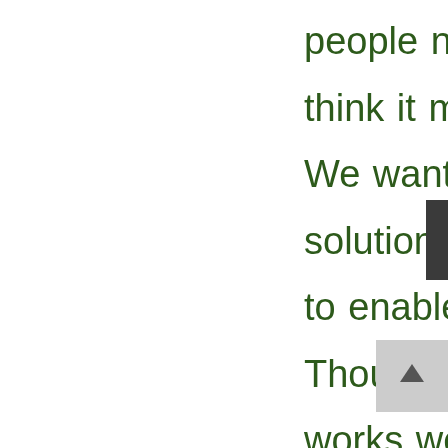people nodded in agreement, I think it mainly fell on deaf ears. We wanted oven-ready solutions, not the infrastructure to enable those solutions. Though the city metaphor works well, because we are talking about human constructions, others would result in similar ways of thinking: cells in bodies, organisms in ecosystems, brains, termite mounds, and so on. All are organized by boundaries (at